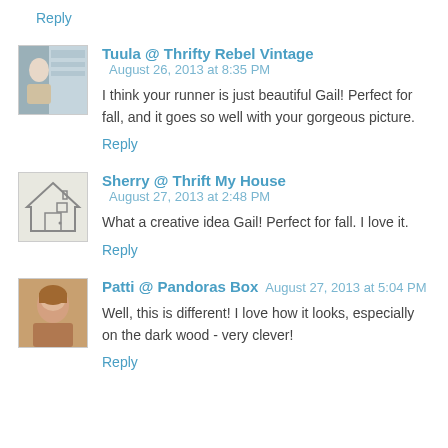Reply
Tuula @ Thrifty Rebel Vintage  August 26, 2013 at 8:35 PM
I think your runner is just beautiful Gail! Perfect for fall, and it goes so well with your gorgeous picture.
Reply
Sherry @ Thrift My House  August 27, 2013 at 2:48 PM
What a creative idea Gail! Perfect for fall. I love it.
Reply
Patti @ Pandoras Box  August 27, 2013 at 5:04 PM
Well, this is different! I love how it looks, especially on the dark wood - very clever!
Reply